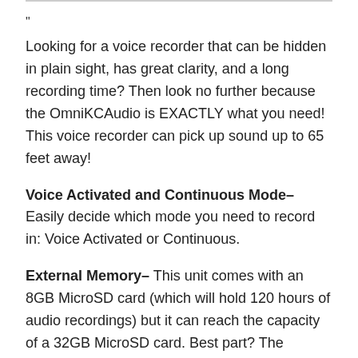”
Looking for a voice recorder that can be hidden in plain sight, has great clarity, and a long recording time? Then look no further because the OmniKCAudio is EXACTLY what you need! This voice recorder can pick up sound up to 65 feet away!
Voice Activated and Continuous Mode- Easily decide which mode you need to record in: Voice Activated or Continuous.
External Memory- This unit comes with an 8GB MicroSD card (which will hold 120 hours of audio recordings) but it can reach the capacity of a 32GB MicroSD card. Best part? The MicroSD card slot is hidden too!